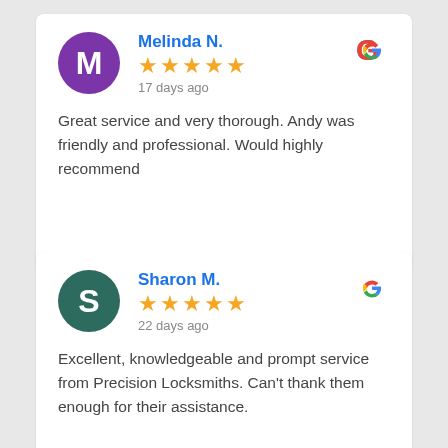Melinda N.
★★★★★ 17 days ago
Great service and very thorough. Andy was friendly and professional. Would highly recommend
Sharon M.
★★★★★ 22 days ago
Excellent, knowledgeable and prompt service from Precision Locksmiths. Can't thank them enough for their assistance.